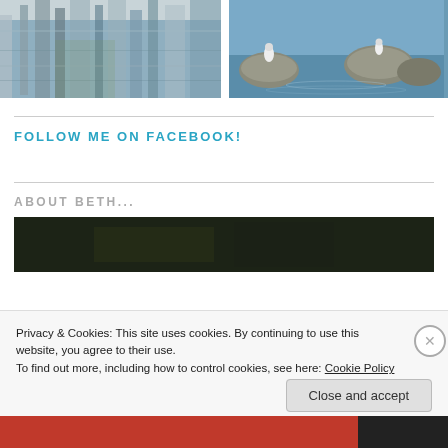[Figure (photo): Two cropped nature photos side by side: left shows marina reflections in water, right shows birds on rocks in calm blue water]
FOLLOW ME ON FACEBOOK!
ABOUT BETH...
[Figure (photo): Dark nature/wildlife photo, partially visible]
Privacy & Cookies: This site uses cookies. By continuing to use this website, you agree to their use.
To find out more, including how to control cookies, see here: Cookie Policy
Close and accept